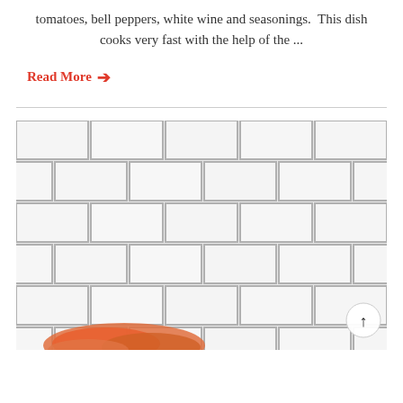tomatoes, bell peppers, white wine and seasonings.  This dish cooks very fast with the help of the ...
Read More →
[Figure (photo): Photo showing white subway tile kitchen backsplash with orange/salmon colored food (possibly shrimp or seafood) visible at the bottom edge, and a circular scroll-to-top button in the lower right corner.]